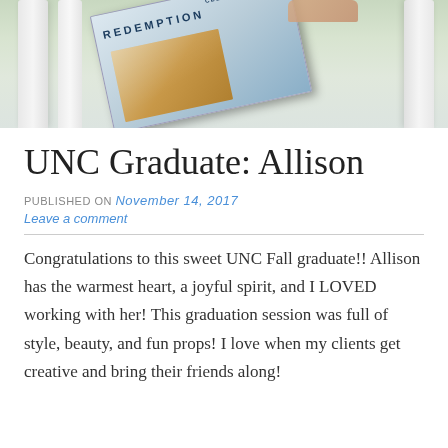[Figure (photo): A person holding up a UNC magazine or yearbook with 'REDEMPTION' on the cover, photographed in front of white columns in an outdoor setting.]
UNC Graduate: Allison
PUBLISHED ON November 14, 2017
Leave a comment
Congratulations to this sweet UNC Fall graduate!! Allison has the warmest heart, a joyful spirit, and I LOVED working with her! This graduation session was full of style, beauty, and fun props! I love when my clients get creative and bring their friends along!